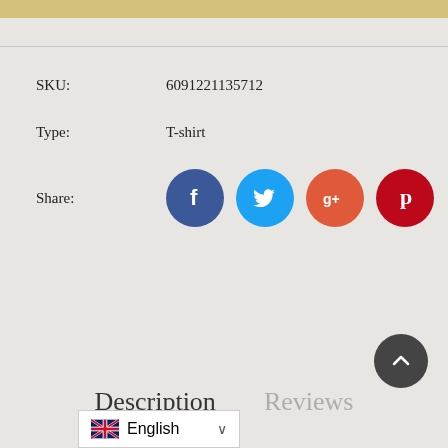SKU: 6091221135712
Type: T-shirt
Share:
[Figure (infographic): Social share buttons: Facebook (blue circle), Twitter (light blue circle), Google+ (orange-red circle), Pinterest (dark red circle)]
Description   Reviews
English